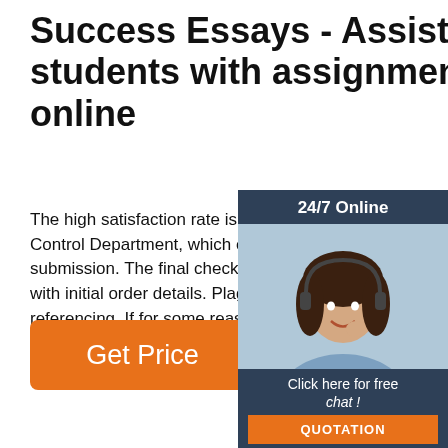Success Essays - Assisting students with assignments online
The high satisfaction rate is set by our Quality Control Department, which checks all papers before submission. The final check includes: Compliance with initial order details. Plagiarism. Proper referencing. If for some reason we happen to miss a mistake unnoticed, you are invited to request unlimited revisions of your custom-written...
[Figure (infographic): Customer support widget with '24/7 Online' header, photo of smiling female agent with headset, 'Click here for free chat!' text, and orange QUOTATION button]
[Figure (other): Orange 'Get Price' button]
[Figure (logo): TOP logo with orange dots arranged in triangle above the word TOP in orange]